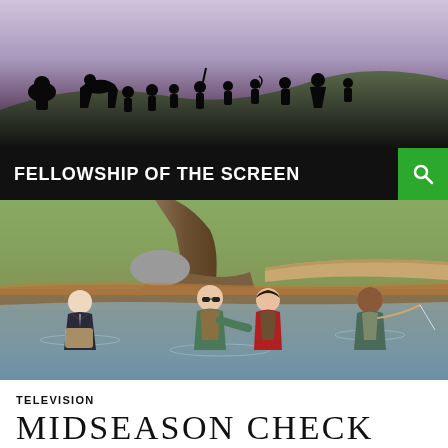[Figure (photo): Silhouette image of Lord of the Rings characters (Fellowship) walking across a ridge against a purple/grey sky]
FELLOWSHIP OF THE SCREEN
[Figure (photo): Four people standing waist-deep in a river or stream in an outdoor setting. A man in a suit with waders holds a burlap sack on the left, a man in a plaid shirt and vest and a woman in red jacket stand in the center, and a man in outdoor gear holds a fishing rod on the right. Trees and rocks in the background.]
TELEVISION
MIDSEASON CHECK IN: